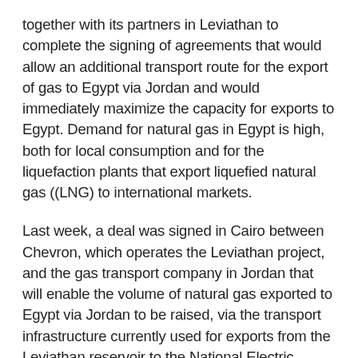together with its partners in Leviathan to complete the signing of agreements that would allow an additional transport route for the export of gas to Egypt via Jordan and would immediately maximize the capacity for exports to Egypt. Demand for natural gas in Egypt is high, both for local consumption and for the liquefaction plants that export liquefied natural gas ((LNG) to international markets.
Last week, a deal was signed in Cairo between Chevron, which operates the Leviathan project, and the gas transport company in Jordan that will enable the volume of natural gas exported to Egypt via Jordan to be raised, via the transport infrastructure currently used for exports from the Leviathan reservoir to the National Electric Power Company in Jordan.
RELATED ARTICLES